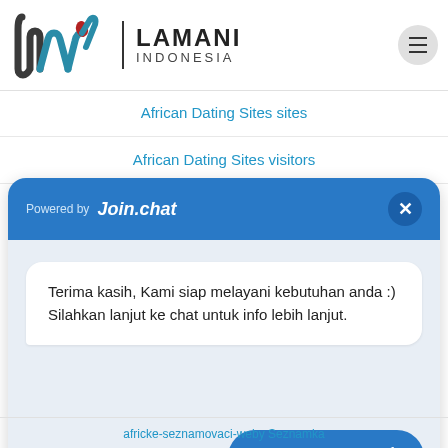[Figure (logo): Lamani Indonesia logo with stylized 'lw' monogram in dark gray and teal with a red accent, vertical divider, and text 'LAMANI INDONESIA']
African Dating Sites sites
African Dating Sites visitors
[Figure (screenshot): Join.chat chat widget with blue header showing 'Powered by Join.chat', a white chat bubble with text 'Terima kasih, Kami siap melayani kebutuhan anda :) Silahkan lanjut ke chat untuk info lebih lanjut.', and a blue 'Kirim Pesan' send button]
africke-seznamovaci-weby Seznamka